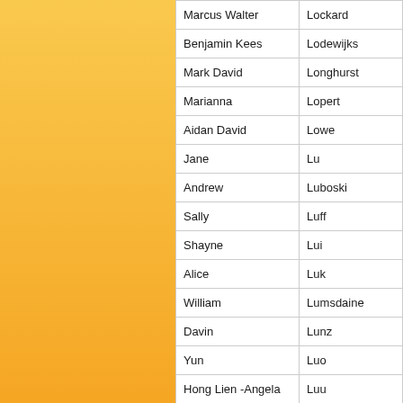| First Name | Last Name |
| --- | --- |
| Marcus Walter | Lockard |
| Benjamin Kees | Lodewijks |
| Mark David | Longhurst |
| Marianna | Lopert |
| Aidan David | Lowe |
| Jane | Lu |
| Andrew | Luboski |
| Sally | Luff |
| Shayne | Lui |
| Alice | Luk |
| William | Lumsdaine |
| Davin | Lunz |
| Yun | Luo |
| Hong Lien -Angela | Luu |
| Sarah Kay | Lux |
| Angelica | Ly |
| Jie Jia | Ma |